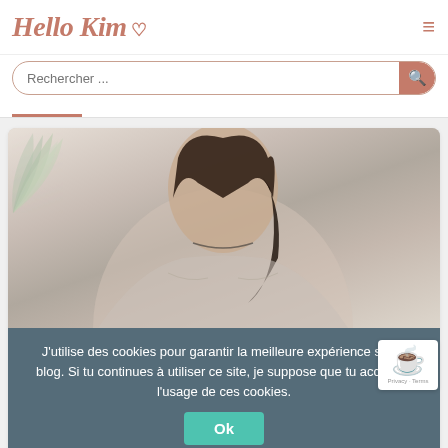Hello Kim ♡
Rechercher ...
[Figure (photo): Screenshot of the Hello Kim blog website showing a header with logo, search bar, a photo of a woman wearing a knitted mohair cardigan, a cookie consent banner, and a partial article title 'Le cardigan Whitmoor, en soie et mohair']
J'utilise des cookies pour garantir la meilleure expérience sur le blog. Si tu continues à utiliser ce site, je suppose que tu acceptes l'usage de ces cookies.
Ok
Le cardigan Whitmoor, en soie et mohair